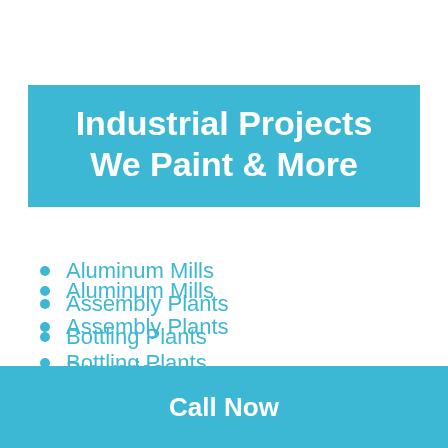Industrial Projects We Paint & More
Aluminum Mills
Assembly Plants
Bottling Plants
Breweries
Concrete Plants
Dairy Plants
Distribution Centers
Call Now